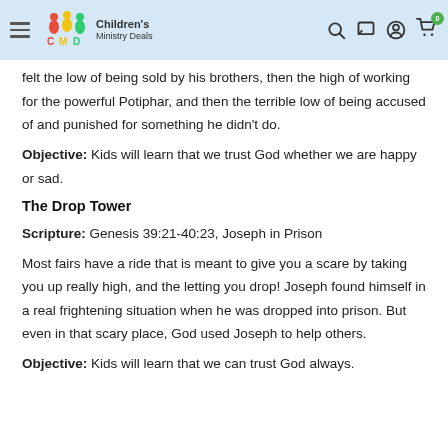Children's Ministry Deals
felt the low of being sold by his brothers, then the high of working for the powerful Potiphar, and then the terrible low of being accused of and punished for something he didn't do.
Objective: Kids will learn that we trust God whether we are happy or sad.
The Drop Tower
Scripture: Genesis 39:21-40:23, Joseph in Prison
Most fairs have a ride that is meant to give you a scare by taking you up really high, and the letting you drop! Joseph found himself in a real frightening situation when he was dropped into prison. But even in that scary place, God used Joseph to help others.
Objective: Kids will learn that we can trust God always.